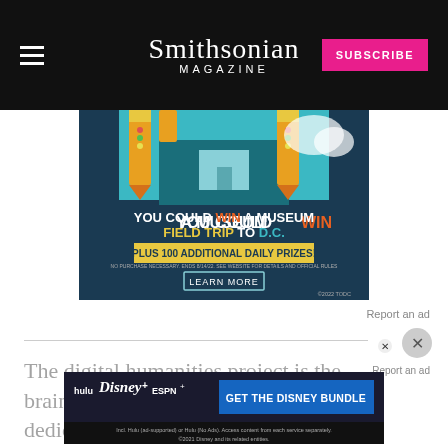Smithsonian MAGAZINE
[Figure (illustration): Smithsonian Magazine advertisement: 'YOU COULD WIN A MUSEUM FIELD TRIP TO D.C. PLUS 100 ADDITIONAL DAILY PRIZES! LEARN MORE' with illustration of school building with pencils. ©2022 TODC]
Report an ad
The digital humanities project is the brainchild of Bo... and 21 collaborators dedicated to transforming
[Figure (illustration): Disney Bundle advertisement: GET THE DISNEY BUNDLE. Incl. Hulu (ad-supported) or Hulu (No Ads). Access content from each service separately. ©2021 Disney and its related entities.]
Report an ad